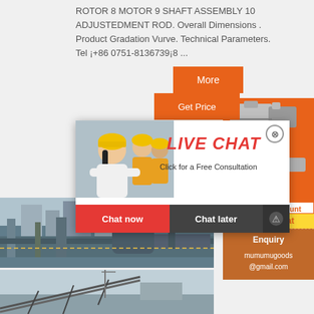ROTOR 8 MOTOR 9 SHAFT ASSEMBLY 10 ADJUSTEDMENT ROD. Overall Dimensions . Product Gradation Vurve. Technical Parameters. Tel +86 0751-8136739—8 ...
[Figure (screenshot): Orange 'More' button]
[Figure (screenshot): Orange 'Get Price' button]
[Figure (screenshot): Live chat popup overlay with woman in hard hat, LIVE CHAT title in red, 'Click for a Free Consultation', Chat now (red) and Chat later (dark) buttons]
[Figure (screenshot): Right sidebar with orange background showing construction/mining machinery images, 'Enjoy 3% discount / Click to Chat' banner, Enquiry section, and mumumugoods@gmail.com email]
[Figure (photo): Industrial factory machinery photo - conveyor and processing equipment]
[Figure (photo): Outdoor conveyor belt structure at industrial site]